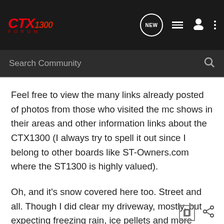CTX1300 Forum — NEW | list | user | menu icons
Search Community
Feel free to view the many links already posted of photos from those who visited the mc shows in their areas and other information links about the CTX1300 (I always try to spell it out since I belong to other boards like ST-Owners.com where the ST1300 is highly valued).
Oh, and it's snow covered here too. Street and all. Though I did clear my driveway, mostly, but expecting freezing rain, ice pellets and more snow tomorrow again.
/bob
2022 Kymco AK 550 Super Touring Extreme in Matte Deep Blue